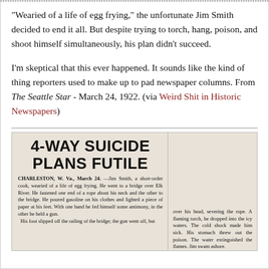"Wearied of a life of egg frying," the unfortunate Jim Smith decided to end it all. But despite trying to torch, hang, poison, and shoot himself simultaneously, his plan didn't succeed.
I'm skeptical that this ever happened. It sounds like the kind of thing reporters used to make up to pad newspaper columns. From The Seattle Star - March 24, 1922. (via Weird Shit in Historic Newspapers)
[Figure (photo): Scanned newspaper clipping with headline '4-WAY SUICIDE PLANS FUTILE' from Charleston, W. Va., March 24. The article describes Jim Smith, a short-order cook, who simultaneously tried to torch, hang, poison, and shoot himself on a bridge over Elk River. The right column continues the story about the rope severing, him dropping into icy waters, and the cold shock making him sick.]